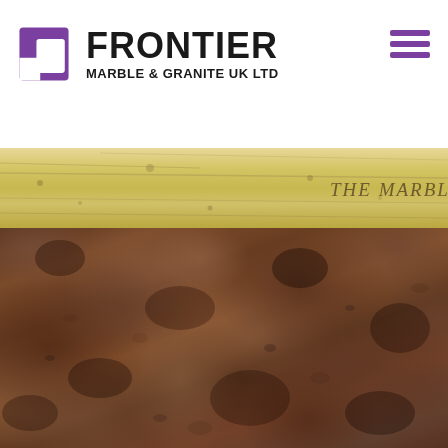[Figure (logo): Frontier Marble & Granite UK Ltd logo with purple F icon and company name in bold black text]
[Figure (photo): Marble texture banner strip showing light beige/gold marble with text reading THE MARBLE & GRAN (partially visible)]
[Figure (photo): Close-up photograph of dark brown/burgundy granite stone texture with speckled minerals]